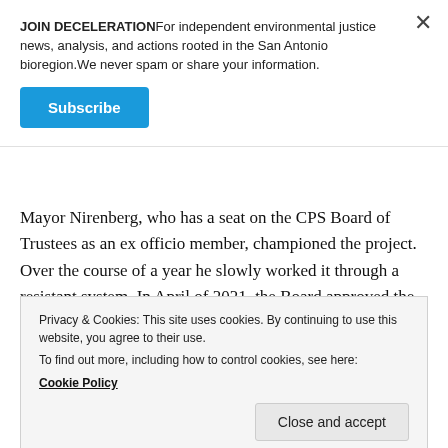JOIN DECELERATIONFor independent environmental justice news, analysis, and actions rooted in the San Antonio bioregion.We never spam or share your information.
Subscribe
Mayor Nirenberg, who has a seat on the CPS Board of Trustees as an ex officio member, championed the project. Over the course of a year he slowly worked it through a resistant system. In April of 2021, the Board approved the committee after months of on-and-off
Privacy & Cookies: This site uses cookies. By continuing to use this website, you agree to their use.
To find out more, including how to control cookies, see here:
Cookie Policy
Close and accept
citizens to find some future solutions and current